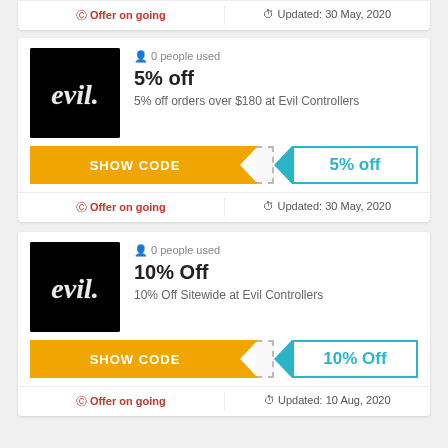Offer on going | Updated: 30 May, 2020
[Figure (logo): Evil Controllers logo - white graffiti text on black background]
0 people used
5% off
5% off orders over $180 at Evil Controllers
SHOW CODE | 5% off
Offer on going | Updated: 30 May, 2020
[Figure (logo): Evil Controllers logo - white graffiti text on black background]
0 people used
10% Off
10% Off Sitewide at Evil Controllers
SHOW CODE | 10% Off
Offer on going | Updated: 10 Aug, 2020